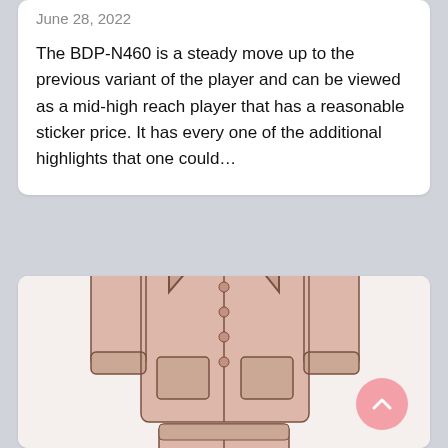June 28, 2022
The BDP-N460 is a steady move up to the previous variant of the player and can be viewed as a mid-high reach player that has a reasonable sticker price. It has every one of the additional highlights that one could…
[Figure (photo): A pink/rose satin pajama set (long-sleeve button-up top with lapels and two front pockets, and matching trousers) displayed on a light background.]